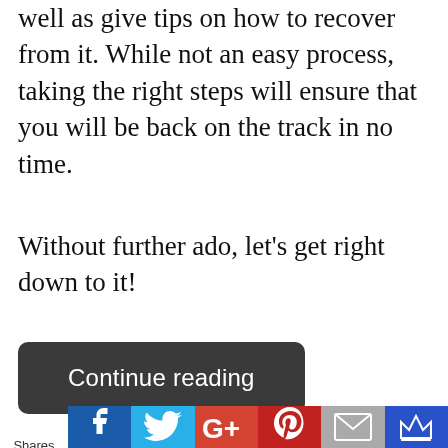well as give tips on how to recover from it. While not an easy process, taking the right steps will ensure that you will be back on the track in no time.
Without further ado, let’s get right down to it!
[Figure (other): Dark rounded button labeled 'Continue reading']
[Figure (other): Social sharing bar with Facebook, Twitter, Google+, Pinterest, Email, and crown icon buttons]
Shares